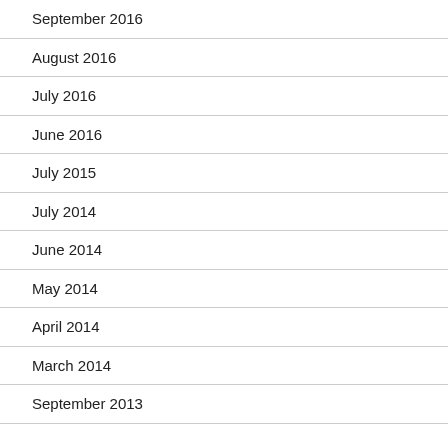September 2016
August 2016
July 2016
June 2016
July 2015
July 2014
June 2014
May 2014
April 2014
March 2014
September 2013